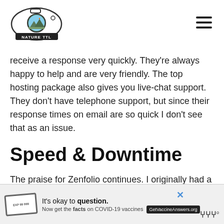Nature TTL [logo] [hamburger menu]
receive a response very quickly. They're always happy to help and are very friendly. The top hosting package also gives you live-chat support. They don't have telephone support, but since their response times on email are so quick I don't see that as an issue.
Speed & Downtime
The praise for Zenfolio continues. I originally had a portfolio website created by a designer, but it was incredibly sluggish and could not hold
It's okay to question. Now get the facts on COVID-19 vaccines GetVaccineAnswers.org